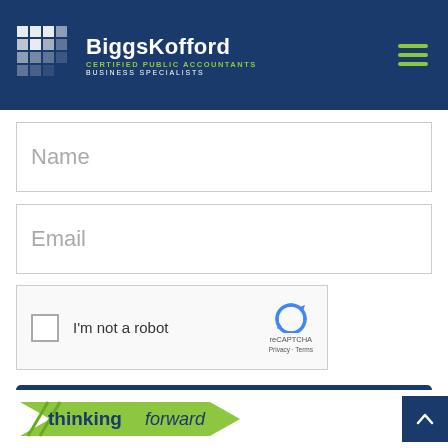BiggsKofford — CERTIFIED PUBLIC ACCOUNTANTS BUSINESS SPECIALISTS
Name
Email
[Figure (screenshot): reCAPTCHA widget with checkbox 'I'm not a robot', reCAPTCHA logo, Privacy and Terms links]
Submit
[Figure (logo): thinking forward — green arrow logo with text 'thinking forward']
thinking forward